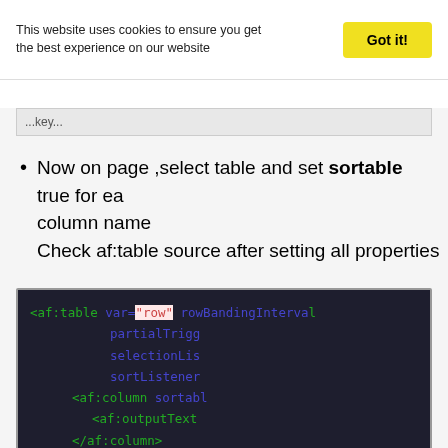This website uses cookies to ensure you get the best experience on our website
Got it!
Now on page ,select table and set sortable true for each column name
Check af:table source after setting all properties
<af:table var="row" rowBandingInterval
                        partialTrigg
                        selectionLis
                        sortListener
          <af:column sortabl
              <af:outputText
          </af:column>
          <af:column sortabl
              <af:outputText
          </af:column>
          <af:column sortabl